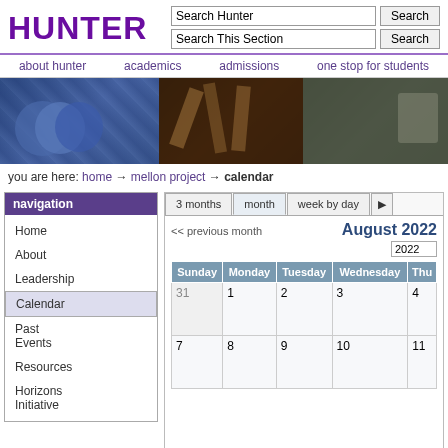[Figure (logo): Hunter College logo in purple bold text]
Search Hunter | Search This Section | Search buttons
about hunter | academics | admissions | one stop for students
[Figure (photo): Banner with three photos: graduates in caps and gowns, dancers on stage, student in lab]
you are here: home → mellon project → calendar
navigation
Home
About
Leadership
Calendar
Past Events
Resources
Horizons Initiative
[Figure (screenshot): Calendar view for August 2022 showing month tab selected, with tabs for 3 months, month, week by day. Calendar grid shows Sunday through Thursday columns with dates 31, 1-4, 7-11 visible.]